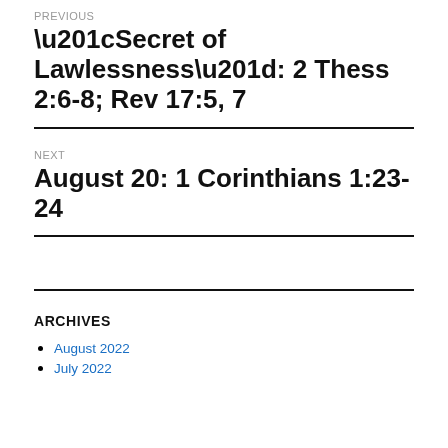PREVIOUS
“Secret of Lawlessness”: 2 Thess 2:6-8; Rev 17:5, 7
NEXT
August 20: 1 Corinthians 1:23-24
ARCHIVES
August 2022
July 2022